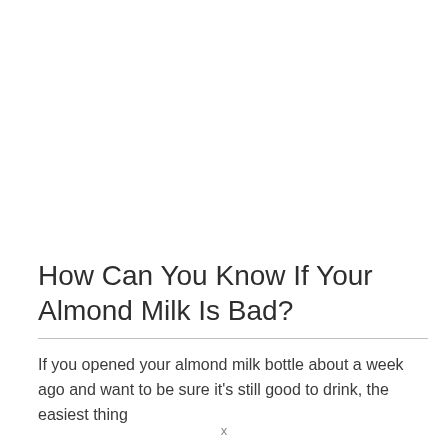How Can You Know If Your Almond Milk Is Bad?
If you opened your almond milk bottle about a week ago and want to be sure it's still good to drink, the easiest thing